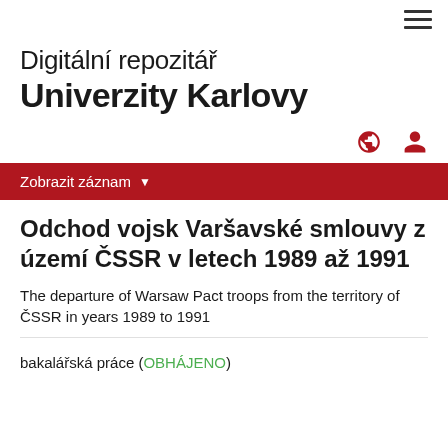≡
Digitální repozitář Univerzity Karlovy
Zobrazit záznam ▾
Odchod vojsk Varšavské smlouvy z území ČSSR v letech 1989 až 1991
The departure of Warsaw Pact troops from the territory of ČSSR in years 1989 to 1991
bakalářská práce (OBHÁJENO)